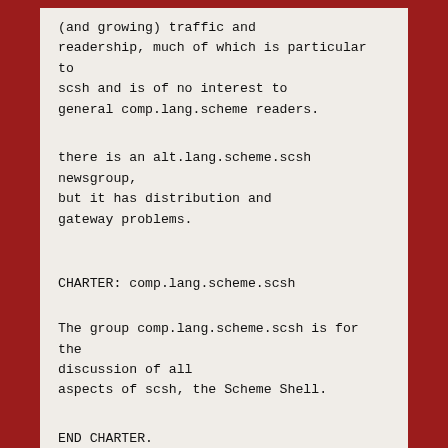(and growing) traffic and readership, much of which is particular to scsh and is of no interest to general comp.lang.scheme readers.
there is an alt.lang.scheme.scsh newsgroup, but it has distribution and gateway problems.
CHARTER: comp.lang.scheme.scsh
The group comp.lang.scheme.scsh is for the discussion of all aspects of scsh, the Scheme Shell.
END CHARTER.
DISTRIBUTION